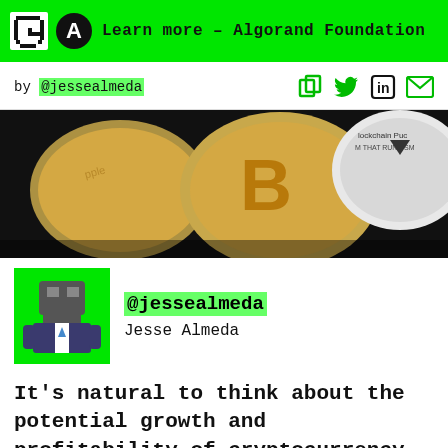Learn more – Algorand Foundation
by @jessealmeda
[Figure (photo): Close-up photo of cryptocurrency coins including Bitcoin and Algorand on a dark background]
@jessealmeda
Jesse Almeda
It's natural to think about the potential growth and profitability of cryptocurrency,